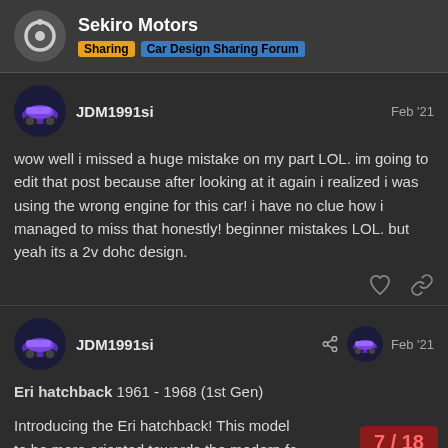Sekiro Motors — Sharing — Car Design Sharing Forum
JDM1991si — Feb '21
wow well i missed a huge mistake on my part LOL. im going to edit that post because after looking at it again i realized i was using the wrong engine for this car! i have no clue how i managed to miss that honestly! beginner mistakes LOL. but yeah its a 2v dohc design.
JDM1991si — Feb '21
Eri hatchback 1961 - 1968 (1st Gen)

Introducing the Eri hatchback! This model to be more oriented towards the modern fa
7 / 18